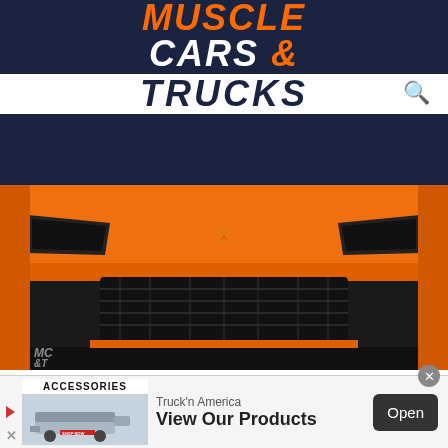MUSCLE CARS & TRUCKS
[Figure (photo): Front view of an orange Chevrolet Corvette Z06 with black front splitter and Corvette logo, displayed at an auto show.]
PROOF THAT WE CAN EXPECT A RIGHT HAND DRIVE CORVETTE Z06
Here's A Rare Look At A Special Corvette Coming Soon
[Figure (infographic): Advertisement banner for Truck'n America Accessories featuring a truck image and 'View Our Products' call to action with an Open button.]